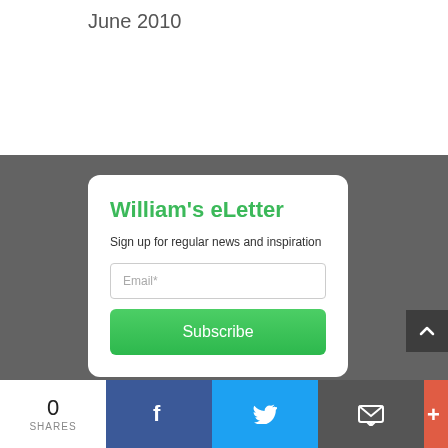June 2010
[Figure (screenshot): Newsletter signup card with title 'William's eLetter', subtitle 'Sign up for regular news and inspiration', email input field, and Subscribe button on dark grey background]
Privacy Policy
0 SHARES
[Figure (infographic): Bottom share bar with Facebook, Twitter, email, and more buttons]